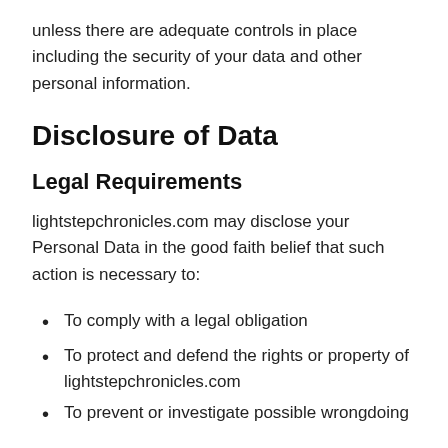unless there are adequate controls in place including the security of your data and other personal information.
Disclosure of Data
Legal Requirements
lightstepchronicles.com may disclose your Personal Data in the good faith belief that such action is necessary to:
To comply with a legal obligation
To protect and defend the rights or property of lightstepchronicles.com
To prevent or investigate possible wrongdoing